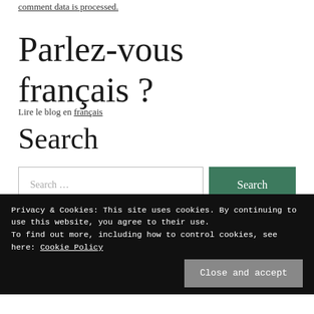comment data is processed.
Parlez-vous français ?
Lire le blog en français
Search
Search …
Privacy & Cookies: This site uses cookies. By continuing to use this website, you agree to their use. To find out more, including how to control cookies, see here: Cookie Policy
Close and accept
Carlotta Land. Proudly powered by WordPress.